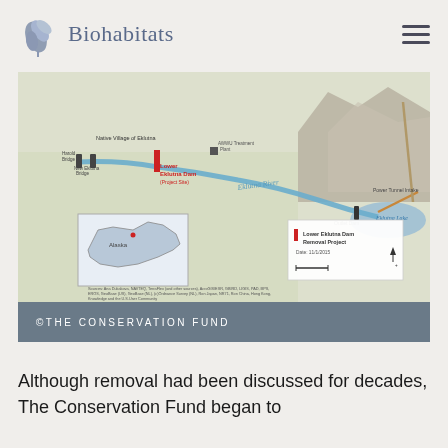Biohabitats
[Figure (map): Map of Lower Eklutna Dam Removal Project showing Eklutna River, Eklutna Lake, Power Tunnel Intake, Outlet Dam, Native Village of Eklutna, Harold Bridge, New Eklutna Bridge, and AWWU Treatment Plant. Inset shows Alaska location. Legend labels: Lower Eklutna Dam Removal Project, Date: 11/1/2015. Prepared by Cirrus GIS.]
©THE CONSERVATION FUND
Although removal had been discussed for decades, The Conservation Fund began to